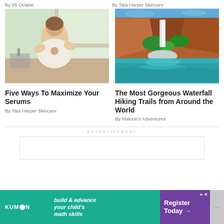By 95 Octane
By Tata Harper Skincare
[Figure (photo): Woman in white robe sitting by a window, holding a small bowl or product]
[Figure (photo): Waterfall cascading down red rock cliffs into a turquoise pool]
Five Ways To Maximize Your Serums
The Most Gorgeous Waterfall Hiking Trails from Around the World
By Tata Harper Skincare
By Malorie's Adventures
ADVERTISEMENT
[Figure (infographic): Kumon advertisement banner: build & advance your child's math skills – Register Today]